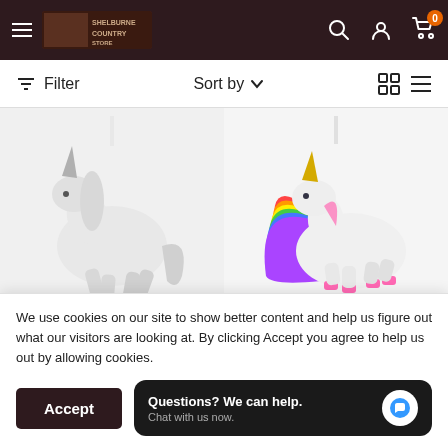Shelburne Country Store navigation header with hamburger menu, logo, search, account, and cart icons
Filter  Sort by  (grid/list view icons)
[Figure (photo): White unicorn ornament figurine with silver horn and hooves, hanging from a white ribbon]
[Figure (photo): Colorful rainbow unicorn ornament with gold horn and pink hooves, hanging from a ribbon]
ABBOTT
HALLMARK
We use cookies on our site to show better content and help us figure out what our visitors are looking at. By clicking Accept you agree to help us out by allowing cookies.
Accept
Questions? We can help. Chat with us now.
Sold out
Sold out